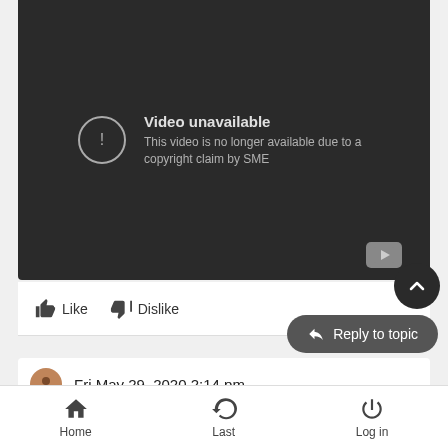[Figure (screenshot): YouTube video embed showing 'Video unavailable' error message: 'This video is no longer available due to a copyright claim by SME']
Like   Dislike
Reply to topic
Fri May 29, 2020 2:14 pm
Home   Last   Log in